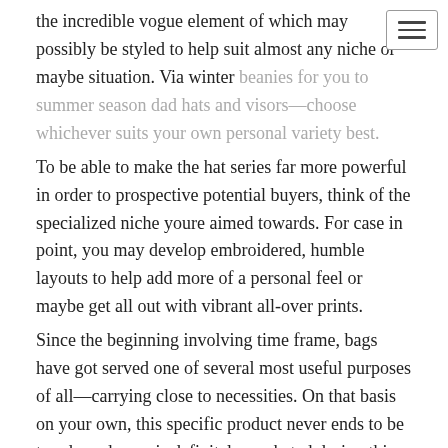the incredible vogue element of which may possibly be styled to help suit almost any niche or maybe situation. Via winter beanies for you to summer season dad hats and visors—choose whichever suits your own personal variety best. To be able to make the hat series far more powerful in order to prospective potential buyers, think of the specialized niche youre aimed towards. For case in point, you may develop embroidered, humble layouts to help add more of a personal feel or maybe get all out with vibrant all-over prints. Since the beginning involving time frame, bags have got served one of several most useful purposes of all—carrying close to necessities. On that basis on your own, this specific product never ends to be trendy and even is definitely marketed during this yr. Even though bags are generally a good useful piece, it may be this design aspect that will takes in people to get various